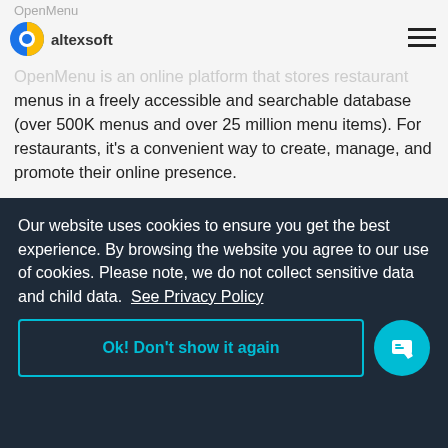OpenMenu
[Figure (logo): Altexsoft logo with blue and yellow circular icon and 'altexsoft' text]
OpenMenu is an online platform that stores restaurant menus in a freely accessible and searchable database (over 500K menus and over 25 million menu items). For restaurants, it's a convenient way to create, manage, and promote their online presence.
[Figure (screenshot): Screenshot of OpenMenu interface showing three sections: OpenMenu Ordering, Nutrition Analysis, and Guest Surveys with colored circle icons]
Our website uses cookies to ensure you get the best experience. By browsing the website you agree to our use of cookies. Please note, we do not collect sensitive data and child data.  See Privacy Policy
Ok! Don't show it again